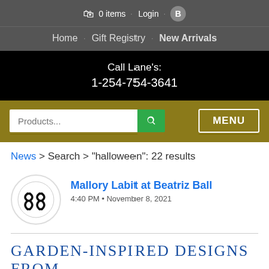0 items · Login · B
Home · Gift Registry · New Arrivals
Call Lane's:
1-254-754-3641
Products... [search] MENU
News > Search > "halloween": 22 results
Mallory Labit at Beatriz Ball
4:40 PM • November 8, 2021
Garden-Inspired Designs From